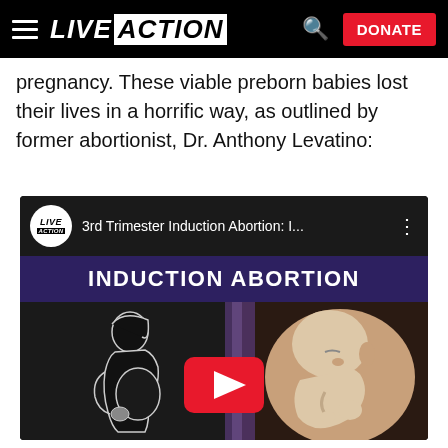LIVE ACTION  [search] [DONATE]
pregnancy.  These viable preborn babies lost their lives in a horrific way, as outlined by former abortionist, Dr. Anthony Levatino:
[Figure (screenshot): YouTube video embed thumbnail for '3rd Trimester Induction Abortion: I...' by Live Action, showing an animated image of a pregnant woman silhouette on the left and a fetus in the womb on the right, with a red YouTube play button in the center. A dark banner reads 'INDUCTION ABORTION'.]